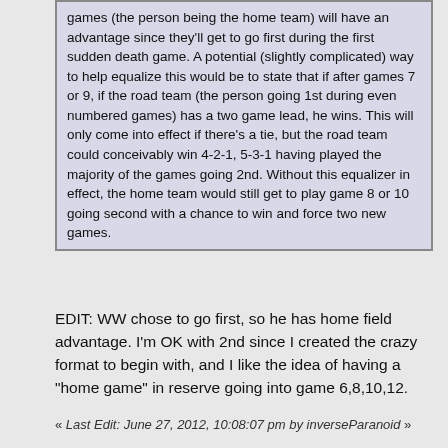games (the person being the home team) will have an advantage since they'll get to go first during the first sudden death game. A potential (slightly complicated) way to help equalize this would be to state that if after games 7 or 9, if the road team (the person going 1st during even numbered games) has a two game lead, he wins. This will only come into effect if there's a tie, but the road team could conceivably win 4-2-1, 5-3-1 having played the majority of the games going 2nd. Without this equalizer in effect, the home team would still get to play game 8 or 10 going second with a chance to win and force two new games.
EDIT: WW chose to go first, so he has home field advantage. I'm OK with 2nd since I created the crazy format to begin with, and I like the idea of having a "home game" in reserve going into game 6,8,10,12.
« Last Edit: June 27, 2012, 10:08:07 pm by inverseParanoid »